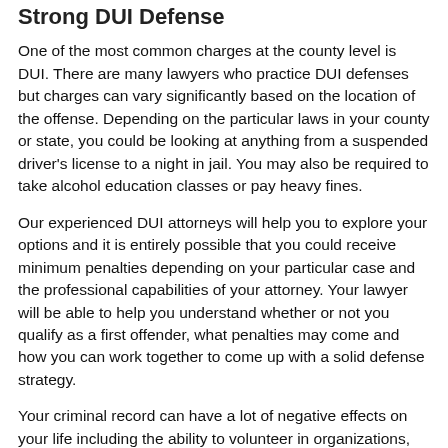Strong DUI Defense
One of the most common charges at the county level is DUI. There are many lawyers who practice DUI defenses but charges can vary significantly based on the location of the offense. Depending on the particular laws in your county or state, you could be looking at anything from a suspended driver's license to a night in jail. You may also be required to take alcohol education classes or pay heavy fines.
Our experienced DUI attorneys will help you to explore your options and it is entirely possible that you could receive minimum penalties depending on your particular case and the professional capabilities of your attorney. Your lawyer will be able to help you understand whether or not you qualify as a first offender, what penalties may come and how you can work together to come up with a solid defense strategy.
Your criminal record can have a lot of negative effects on your life including the ability to volunteer in organizations, get scholarships or be accepted to college and may even have